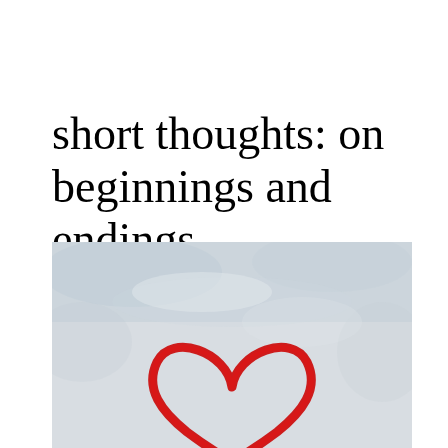short thoughts: on beginnings and endings
[Figure (photo): A red heart shape painted or drawn on a light grayish-white textured wall surface, photographed from straight on. The heart is rendered in thick red brush strokes.]